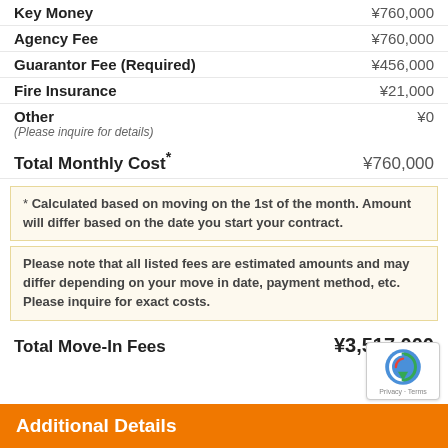Key Money  ¥760,000
Agency Fee  ¥760,000
Guarantor Fee (Required)  ¥456,000
Fire Insurance  ¥21,000
Other  ¥0
(Please inquire for details)
Total Monthly Cost*  ¥760,000
* Calculated based on moving on the 1st of the month. Amount will differ based on the date you start your contract.
Please note that all listed fees are estimated amounts and may differ depending on your move in date, payment method, etc. Please inquire for exact costs.
Total Move-In Fees  ¥3,517,000
Additional Details